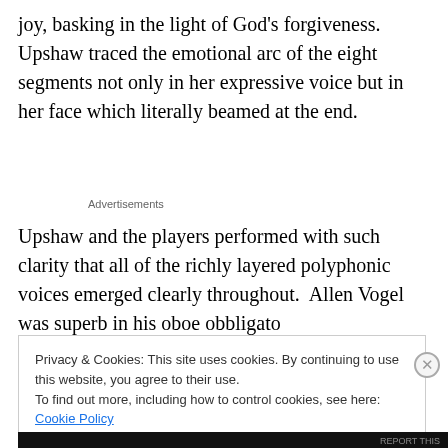joy, basking in the light of God’s forgiveness.  Upshaw traced the emotional arc of the eight segments not only in her expressive voice but in her face which literally beamed at the end.
Advertisements
Upshaw and the players performed with such clarity that all of the richly layered polyphonic voices emerged clearly throughout.  Allen Vogel was superb in his oboe obbligato
Privacy & Cookies: This site uses cookies. By continuing to use this website, you agree to their use.
To find out more, including how to control cookies, see here: Cookie Policy
Close and accept